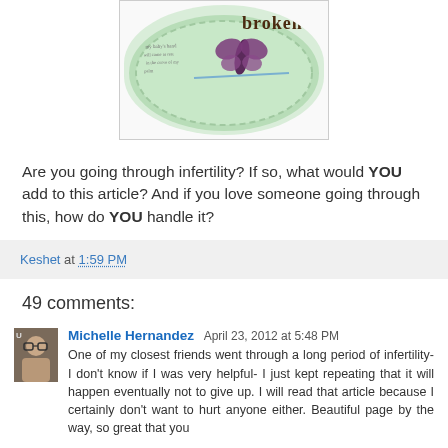[Figure (illustration): A heart-shaped green craft/scrapbook image with the word 'broken' in bold brown text, a butterfly illustration, and handwritten text inside the heart shape.]
Are you going through infertility? If so, what would YOU add to this article? And if you love someone going through this, how do YOU handle it?
Keshet at 1:59 PM
49 comments:
Michelle Hernandez  April 23, 2012 at 5:48 PM
One of my closest friends went through a long period of infertility- I don't know if I was very helpful- I just kept repeating that it will happen eventually not to give up. I will read that article because I certainly don't want to hurt anyone either. Beautiful page by the way, so great that you